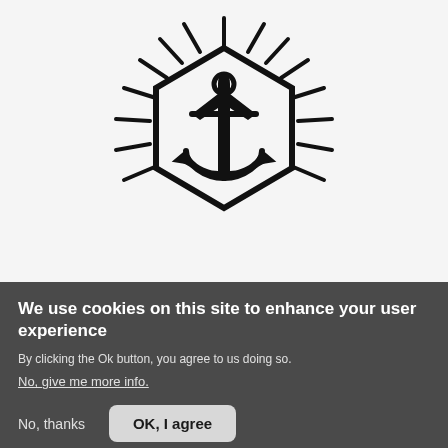[Figure (logo): Black anchor inside a hexagon outline with radiating sunburst lines around it, on a light gray background]
We use cookies on this site to enhance your user experience
By clicking the Ok button, you agree to us doing so.
No, give me more info.
No, thanks
OK, I agree